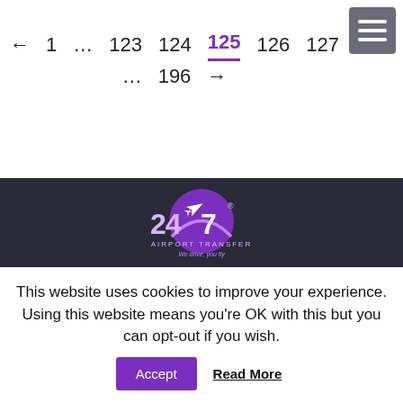← 1 … 123 124 125 126 127 … 196 →
[Figure (logo): 247 Airport Transfer logo — purple globe with airplane and swoosh, text '247 AIRPORT TRANSFER We drive, you fly']
Copyright © 2013 247 Airport Transfer. All Rights Reserved.
PCO license no: 07747/01/02
Registered for Data Protection
This website uses cookies to improve your experience. Using this website means you're OK with this but you can opt-out if you wish.